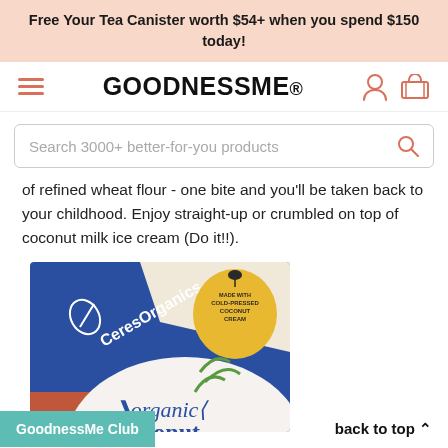Free Your Tea Canister worth $54+ when you spend $150 today!
[Figure (logo): GoodnessMe logo with hamburger menu and icons]
Search 3000+ better-for-you products
of refined wheat flour - one bite and you'll be taken back to your childhood. Enjoy straight-up or crumbled on top of coconut milk ice cream (Do it!!).
[Figure (photo): Ceres Organics organic coconut product package - blue and terracotta packaging with palm leaf design and cold-pressed coconut cream badge]
GoodnessMe Club | back to top